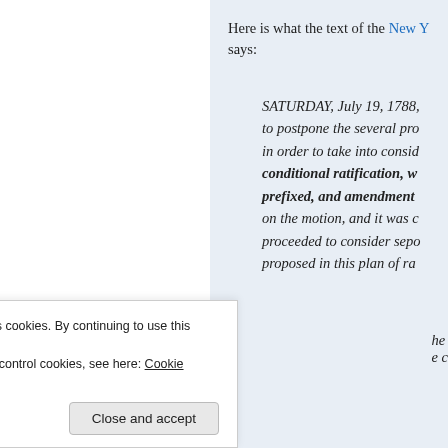Here is what the text of the New Y[ork ratification] says:
SATURDAY, July 19, 1788, [...] to postpone the several pro[posals,] in order to take into consid[eration] conditional ratification, w[ith a bill of rights] prefixed, and amendment[s proposed.] on the motion, and it was d[ecided. The committee] proceeded to consider sepo[rately the amendments] proposed in this plan of ra[tification...]
Privacy & Cookies: This site uses cookies. By continuing to use this website, you agree to their use.
To find out more, including how to control cookies, see here: Cookie Policy
Close and accept